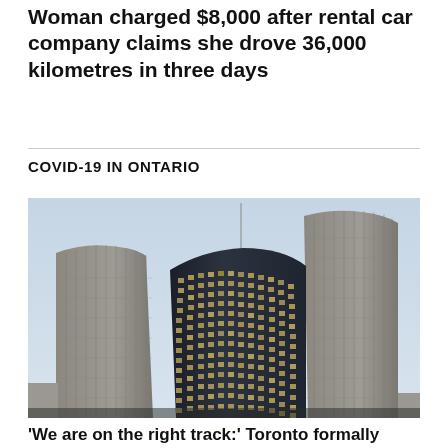Woman charged $8,000 after rental car company claims she drove 36,000 kilometres in three days
COVID-19 IN ONTARIO
[Figure (photo): Looking up at two curved modernist skyscrapers (Toronto City Hall) against a light blue overcast sky. The buildings have distinctive curved glass and concrete facades with many windows lit from inside.]
'We are on the right track:' Toronto formally ends